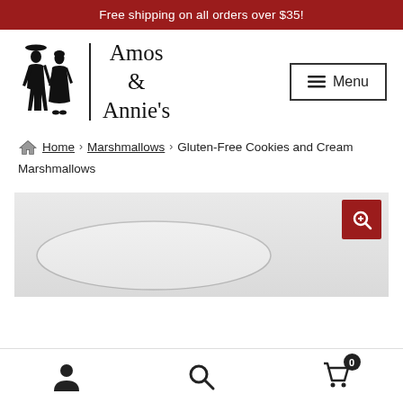Free shipping on all orders over $35!
[Figure (logo): Amos & Annie's logo with two silhouetted figures (man and woman) beside the brand name text]
Menu
Home > Marshmallows > Gluten-Free Cookies and Cream Marshmallows
[Figure (photo): Product image of Gluten-Free Cookies and Cream Marshmallows with a zoom/search icon in top-right corner]